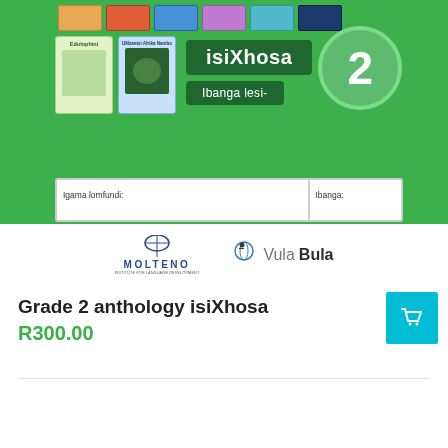[Figure (photo): Product image of isiXhosa Grade 2 anthology textbook set on green background with book covers, a circle with number 2, text 'isiXhosa' and 'Ibanga lesi-', name and class fields, and Molteno/VulaBula logos below.]
Grade 2 anthology isiXhosa
R300.00